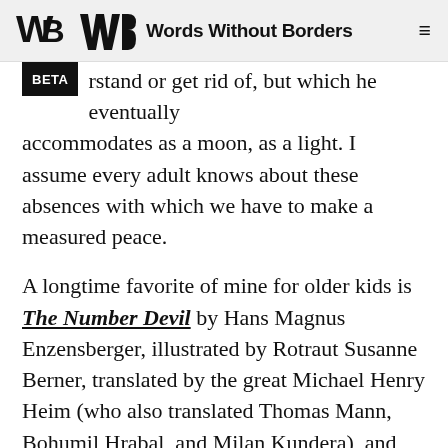Words Without Borders
rstand or get rid of, but which he eventually accommodates as a moon, as a light. I assume every adult knows about these absences with which we have to make a measured peace.
A longtime favorite of mine for older kids is The Number Devil by Hans Magnus Enzensberger, illustrated by Rotraut Susanne Berner, translated by the great Michael Henry Heim (who also translated Thomas Mann, Bohumil Hrabal, and Milan Kundera), and published by Henry Holt and Co. It's a dreamy adventure story that is somehow about prime numbers, Fibonacci sequences, and other concepts in math, all experienced by a kid